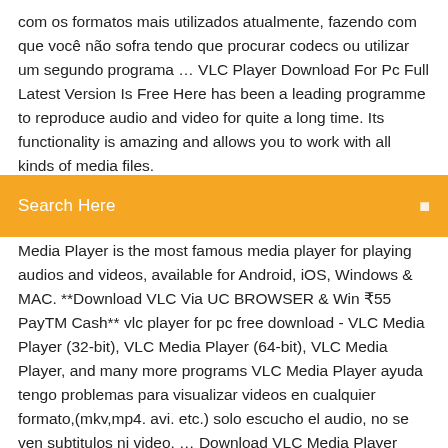com os formatos mais utilizados atualmente, fazendo com que você não sofra tendo que procurar codecs ou utilizar um segundo programa … VLC Player Download For Pc Full Latest Version Is Free Here has been a leading programme to reproduce audio and video for quite a long time. Its functionality is amazing and allows you to work with all kinds of media files.
Search Here
Media Player is the most famous media player for playing audios and videos, available for Android, iOS, Windows & MAC. **Download VLC Via UC BROWSER & Win ₹55 PayTM Cash** vlc player for pc free download - VLC Media Player (32-bit), VLC Media Player (64-bit), VLC Media Player, and many more programs VLC Media Player ayuda tengo problemas para visualizar videos en cualquier formato,(mkv,mp4. avi. etc.) solo escucho el audio, no se ven subtitulos ni video, … Download VLC Media Player 2020 Free for PC & Mobile More Features. It is completely free and available to all users around the world.